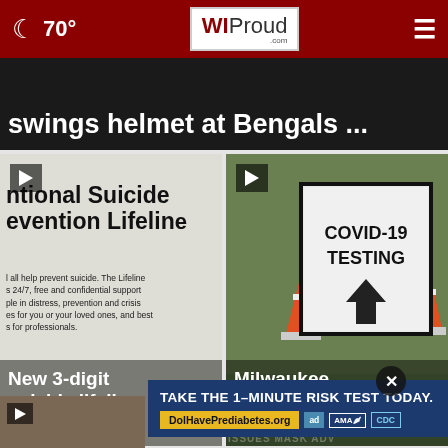70° | WIProud.com
[Figure (screenshot): Hero banner showing text: swings helmet at Bengals ...]
[Figure (screenshot): Video thumbnail: National Suicide Prevention Lifeline sign with caption 'New 3-digit suicide lifeline 988 is live']
[Figure (screenshot): Video thumbnail: COVID-19 TESTING sign with orange traffic cones, caption 'Milwaukee issues mask advisory']
[Figure (screenshot): Partial video thumbnail at bottom left]
[Figure (infographic): Advertisement: TAKE THE 1-MINUTE RISK TEST TODAY. DolHavePrediabetes.org with AMA and CDC logos]